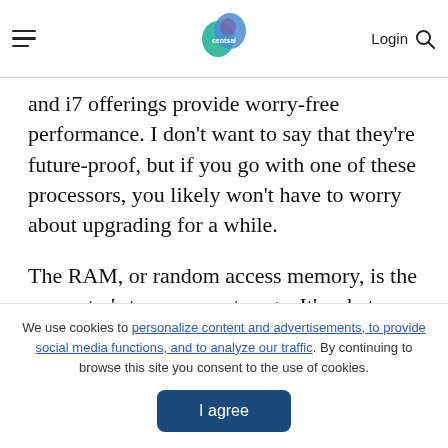centsai | Login
and i7 offerings provide worry-free performance. I don't want to say that they're future-proof, but if you go with one of these processors, you likely won't have to worry about upgrading for a while.
The RAM, or random access memory, is the computer's temporary storage. It's what stores information, such as where your cursor is on the screen and what windows you have open in the
We use cookies to personalize content and advertisements, to provide social media functions, and to analyze our traffic. By continuing to browse this site you consent to the use of cookies.
I agree